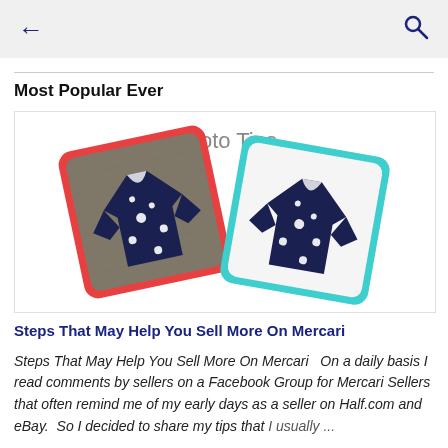← [back] [search]
Most Popular Ever
[Figure (illustration): Photo Tips illustration showing two patterned shirts: one on a textured/carpet background (red border card) and one on a white background (teal border card)]
Steps That May Help You Sell More On Mercari
Steps That May Help You Sell More On Mercari   On a daily basis I read comments by sellers on a Facebook Group for Mercari Sellers that often remind me of my early days as a seller on Half.com and eBay.  So I decided to share my tips that I usually ...